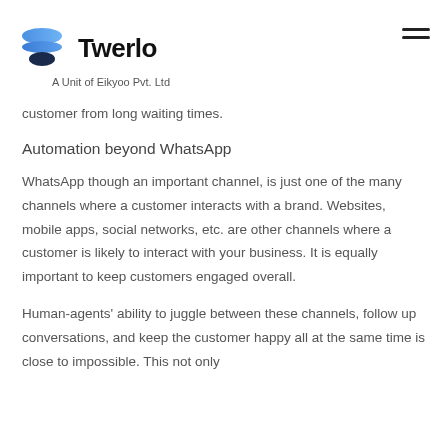Twerlo — A Unit of Eikyoo Pvt. Ltd
customer from long waiting times.
Automation beyond WhatsApp
WhatsApp though an important channel, is just one of the many channels where a customer interacts with a brand. Websites, mobile apps, social networks, etc. are other channels where a customer is likely to interact with your business. It is equally important to keep customers engaged overall.
Human-agents' ability to juggle between these channels, follow up conversations, and keep the customer happy all at the same time is close to impossible. This not only